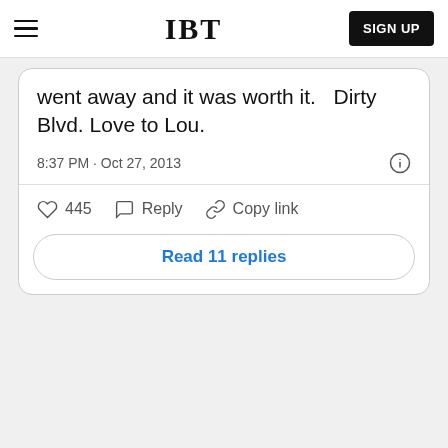IBT  SIGN UP
went away and it was worth it.   Dirty Blvd. Love to Lou.
8:37 PM · Oct 27, 2013
♡ 445   Reply   Copy link
Read 11 replies